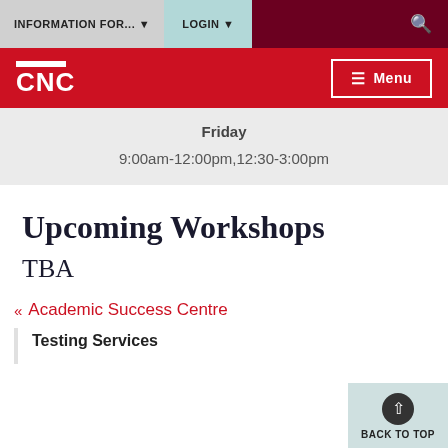INFORMATION FOR... ▼   LOGIN ▼   🔍
[Figure (logo): CNC college logo in white on red background with Menu button]
| Day | Hours |
| --- | --- |
| Friday | 9:00am-12:00pm,12:30-3:00pm |
Upcoming Workshops
TBA
« Academic Success Centre
Testing Services